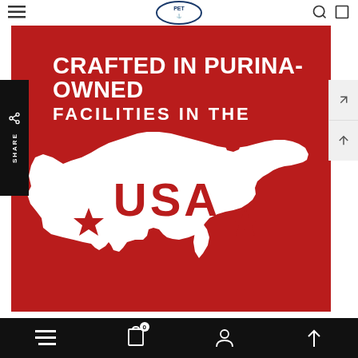[Figure (logo): Purina PET logo at top center of page — oval blue border logo]
[Figure (infographic): Red background infographic with white silhouette map of the USA and text reading 'CRAFTED IN PURINA-OWNED FACILITIES IN THE USA' with two red stars flanking 'USA']
CRAFTED IN PURINA-OWNED FACILITIES IN THE USA
[Figure (screenshot): Mobile website screenshot with top navigation bar, share sidebar, main red Purina infographic, right-side navigation arrows, and bottom mobile navigation bar with menu, clipboard, account, and scroll-up icons]